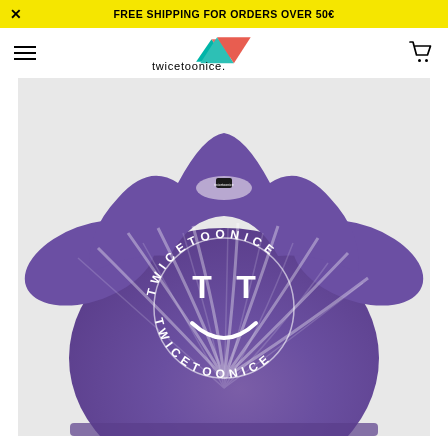FREE SHIPPING FOR ORDERS OVER 50€
[Figure (logo): twicetoonice brand logo with teal and pink triangle shapes]
[Figure (photo): Purple tie-dye t-shirt with TWICETOONICE circular logo and smiley face graphic on the front, displayed on a light gray background]